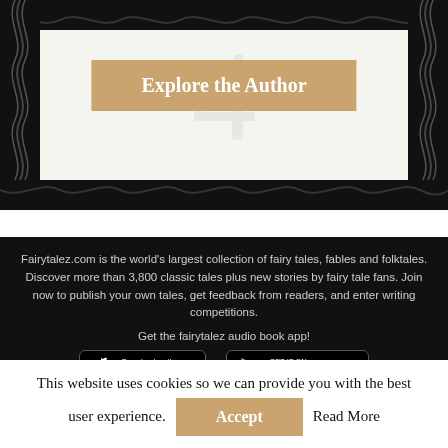[Figure (illustration): Decorative banner with ornate wavy black border patterns on top, bottom, left, and right sides, with light background and faint swirl watermark pattern. Contains an 'Explore the Author' button in the center.]
Explore the Author
Fairytalez.com is the world's largest collection of fairy tales, fables and folktales. Discover more than 3,800 classic tales plus new stories by fairy tale fans. Join now to publish your own tales, get feedback from readers, and enter writing competitions.
Get the fairytalez audio book app!
[Figure (logo): Download on the App Store badge with Apple logo icon]
[Figure (logo): GET IT ON Google Play badge with Google Play triangle icon]
This website uses cookies so we can provide you with the best user experience.
Accept
Read More